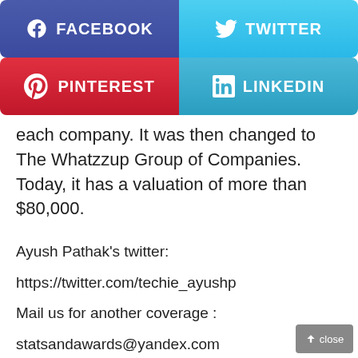[Figure (infographic): Social media sharing buttons: Facebook (blue-purple), Twitter (light blue), Pinterest (red), LinkedIn (blue)]
each company. It was then changed to The Whatzzup Group of Companies. Today, it has a valuation of more than $80,000.
Ayush Pathak’s twitter:
https://twitter.com/techie_ayushp
Mail us for another coverage :
statsandawards@yandex.com
NOTE: Please do not send suggestion to interview